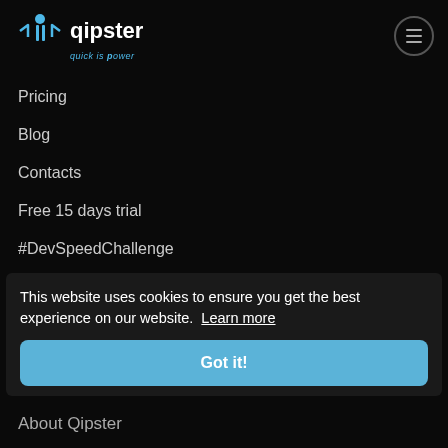[Figure (logo): Qipster logo with cyan arrow/person icon and text 'qipster quick is power']
Pricing
Blog
Contacts
Free 15 days trial
#DevSpeedChallenge
Contact us
Email
Skype
+39 0142 801169
This website uses cookies to ensure you get the best experience on our website. Learn more
Got it!
About Qipster